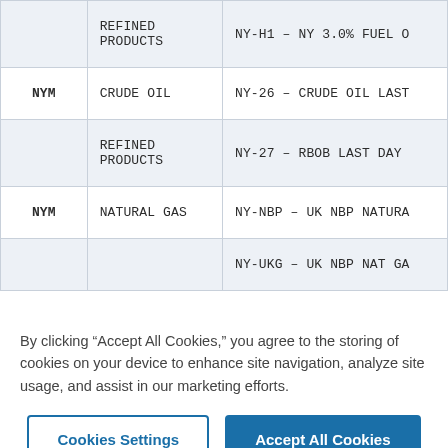|  | REFINED PRODUCTS | NY-H1 – NY 3.0% FUEL O |
| --- | --- | --- |
| NYM | CRUDE OIL | NY-26 – CRUDE OIL LAST |
|  | REFINED PRODUCTS | NY-27 – RBOB LAST DAY |
| NYM | NATURAL GAS | NY-NBP – UK NBP NATURA |
|  |  | NY-UKG – UK NBP NAT GA |
By clicking “Accept All Cookies,” you agree to the storing of cookies on your device to enhance site navigation, analyze site usage, and assist in our marketing efforts.